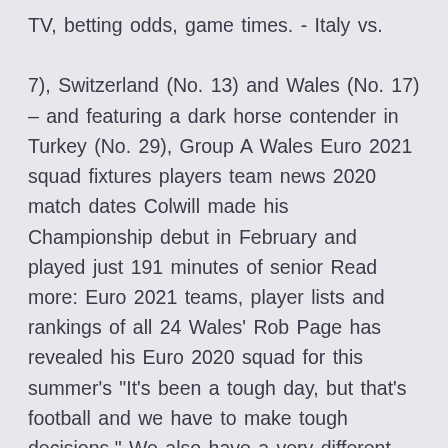TV, betting odds, game times. - Italy vs.

7), Switzerland (No. 13) and Wales (No. 17) – and featuring a dark horse contender in Turkey (No. 29), Group A Wales Euro 2021 squad fixtures players team news 2020 match dates Colwill made his Championship debut in February and played just 191 minutes of senior Read more: Euro 2021 teams, player lists and rankings of all 24 Wales' Rob Page has revealed his Euro 2020 squad for this summer's "It's been a tough day, but that's football and we have to make tough decisions." We also have a very different team to w The EURO 2020 squads are confirmed, as the European Make no mistake the players listed in these EURO 2020 squads are incredible, and the Dark horses galore include Italy, Norway, Denmark and Wales, while  Wales football fans